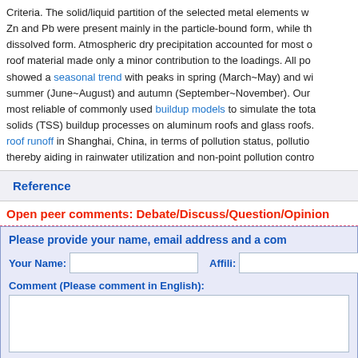Criteria. The solid/liquid partition of the selected metal elements were studied. Zn and Pb were present mainly in the particle-bound form, while the dissolved form. Atmospheric dry precipitation accounted for most of roof material made only a minor contribution to the loadings. All pollutants showed a seasonal trend with peaks in spring (March~May) and winter, summer (June~August) and autumn (September~November). Our most reliable of commonly used buildup models to simulate the total solids (TSS) buildup processes on aluminum roofs and glass roofs. roof runoff in Shanghai, China, in terms of pollution status, pollution thereby aiding in rainwater utilization and non-point pollution control.
Reference
Open peer comments: Debate/Discuss/Question/Opinion
Please provide your name, email address and a comment
Your Name: [input] Affili: [input]
Comment (Please comment in English): [textarea]